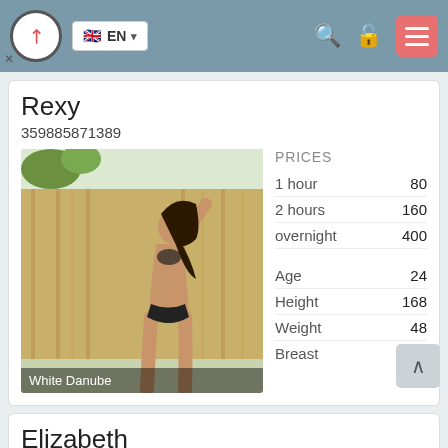EN — navigation header with logo, language selector, search, lock, and menu icons
Rexy
359885871389
[Figure (photo): Photo of woman outdoors near bamboo/reed fence with caption 'White Danube']
|  |  |
| --- | --- |
| PRICES |  |
| 1 hour | 80 |
| 2 hours | 160 |
| overnight | 400 |
| Age | 24 |
| Height | 168 |
| Weight | 48 |
| Breast | 2 |
Elizabeth